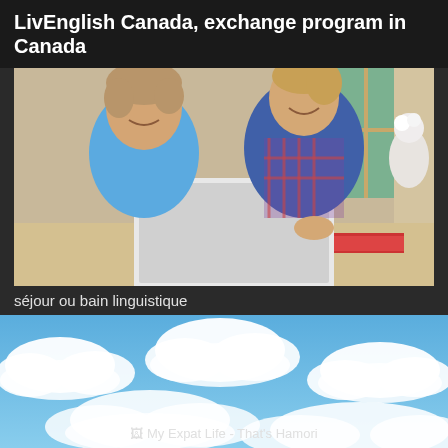LivEnglish Canada, exchange program in Canada
[Figure (photo): Two students (a young boy in blue polo shirt and a young woman in plaid shirt) smiling and looking at a laptop together, sitting at a desk near a window with plants outside.]
séjour ou bain linguistique
[Figure (photo): Blue sky with white fluffy clouds.]
My Expat Life - That's Hamori